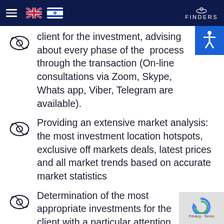FINDERS — navigation bar with hamburger menu, UK flag, Israel flag, and Finders logo
client for the investment, advising about every phase of the process through the transaction (On-line consultations via Zoom, Skype, Whats app, Viber, Telegram are available).
Providing an extensive market analysis: the most investment location hotspots, exclusive off markets deals, latest prices and all market trends based on accurate market statistics
Determination of the most appropriate investments for the client with a particular attention to his needs and financial abilities. Due to our deep knowledge and vast experience we can pinpoint to the best real estate deals with an attractive